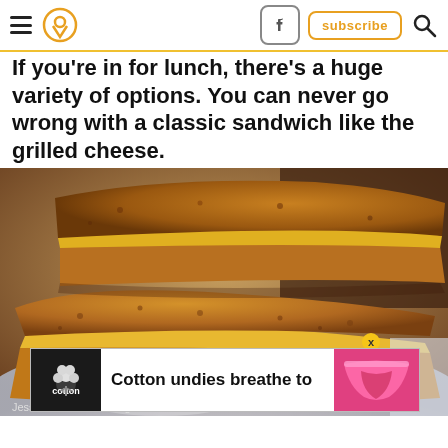Navigation header with hamburger menu, pin/location icon, Facebook button, subscribe button, search icon
If you're in for lunch, there's a huge variety of options. You can never go wrong with a classic sandwich like the grilled cheese.
[Figure (photo): Close-up photo of a grilled cheese sandwich on a white plate, showing golden-brown toasted bread with melted yellow cheese visible inside]
Jessica Brouillette/Google
[Figure (other): Advertisement banner: Cotton undies breathe to - with Cotton logo on left and pink underwear image on right]